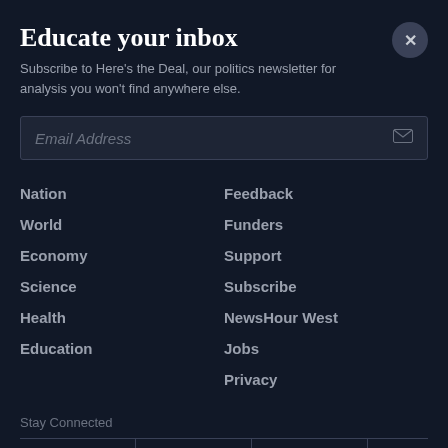Educate your inbox
Subscribe to Here's the Deal, our politics newsletter for analysis you won't find anywhere else.
Email Address
Nation
World
Economy
Science
Health
Education
Feedback
Funders
Support
Subscribe
NewsHour West
Jobs
Privacy
Stay Connected
[Figure (infographic): Social media icons row: Facebook, Twitter, YouTube, RSS feed icons in cells separated by vertical lines]